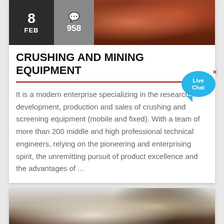[Figure (photo): Top portion of a blog/article card showing a date badge (8 FEB), comment count badge (speech bubble icon, 958), and a photo of mining/crushing equipment in reddish-brown tones]
CRUSHING AND MINING EQUIPMENT
It is a modern enterprise specializing in the research, development, production and sales of crushing and screening equipment (mobile and fixed). With a team of more than 200 middle and high professional technical engineers, relying on the pioneering and enterprising spirit, the unremitting pursuit of product excellence and the advantages of ...
[Figure (photo): Bottom card showing mining/crushing equipment — appears to be a portable crusher or similar device with ropes/cables, a white component, and dark mechanical parts]